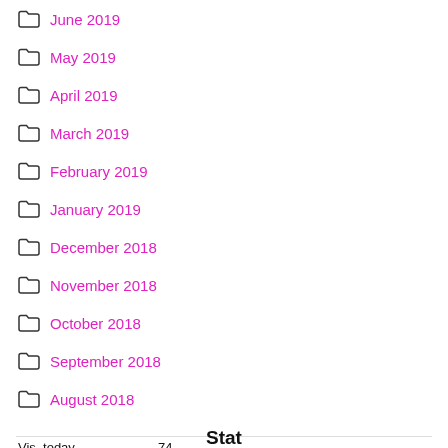June 2019
May 2019
April 2019
March 2019
February 2019
January 2019
December 2018
November 2018
October 2018
September 2018
August 2018
Stat
Vis. today    74
Visits    98,017